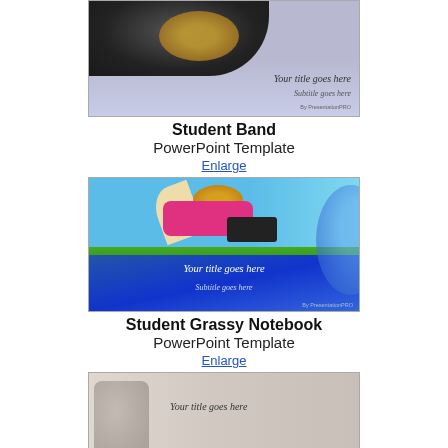[Figure (screenshot): Student Band PowerPoint template preview showing a partially visible slide with dark photo of band instruments and a purple/blue gradient background with title and subtitle placeholder text]
Student Band
PowerPoint Template
Enlarge
[Figure (screenshot): Student Grassy Notebook PowerPoint template preview showing a woman lying on grass with a laptop against a blue sky background, with blue gradient lower section containing title and subtitle placeholder text]
Student Grassy Notebook
PowerPoint Template
Enlarge
[Figure (screenshot): Third PowerPoint template preview partially visible at bottom, showing a light beige/gray background with cups/containers and title placeholder text]